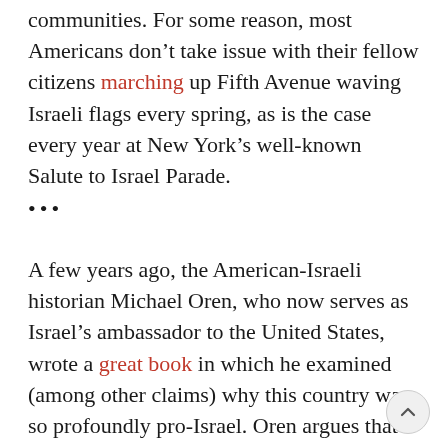communities. For some reason, most Americans don't take issue with their fellow citizens marching up Fifth Avenue waving Israeli flags every spring, as is the case every year at New York's well-known Salute to Israel Parade.
...
A few years ago, the American-Israeli historian Michael Oren, who now serves as Israel's ambassador to the United States, wrote a great book in which he examined (among other claims) why this country was so profoundly pro-Israel. Oren argues that the dominance of the Protestant faith in this country gives the United States a continued connection to Israel, and that it has long been in